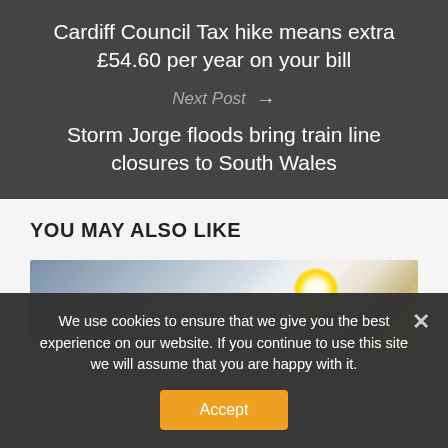Cardiff Council Tax hike means extra £54.60 per year on your bill
Next Post →
Storm Jorge floods bring train line closures to South Wales
YOU MAY ALSO LIKE
[Figure (photo): Sky scene with bright sun and gradient blue-grey sky]
We use cookies to ensure that we give you the best experience on our website. If you continue to use this site we will assume that you are happy with it.
Accept